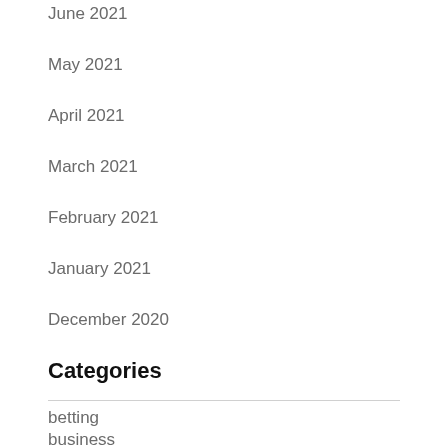June 2021
May 2021
April 2021
March 2021
February 2021
January 2021
December 2020
Categories
betting
business
casino